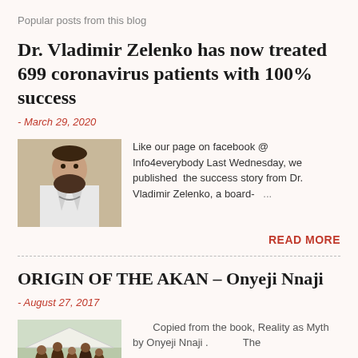Popular posts from this blog
Dr. Vladimir Zelenko has now treated 699 coronavirus patients with 100% success
- March 29, 2020
[Figure (photo): Photo of Dr. Vladimir Zelenko, a bearded man in a white coat]
Like our page on facebook @ Info4everybody Last Wednesday, we published the success story from Dr. Vladimir Zelenko, a board- ...
READ MORE
ORIGIN OF THE AKAN – Onyeji Nnaji
- August 27, 2017
[Figure (photo): Group photo of people, possibly African community gathering]
Copied from the book, Reality as Myth by Onyeji Nnaji . The